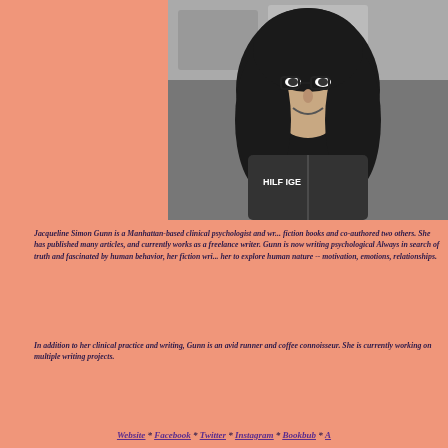[Figure (photo): Black and white photograph of Jacqueline Simon Gunn, a woman with long curly dark hair and glasses, smiling, wearing a Tommy Hilfiger zip-up sweatshirt, photographed outdoors with bicycles in background.]
Jacqueline Simon Gunn is a Manhattan-based clinical psychologist and wr... fiction books and co-authored two others. She has published many articles, and currently works as a freelance writer. Gunn is now writing psychological Always in search of truth and fascinated by human behavior, her fiction wri... her to explore human nature -- motivation, emotions, relationships.
In addition to her clinical practice and writing, Gunn is an avid runner and coffee connoisseur. She is currently working on multiple writing projects.
Website * Facebook * Twitter * Instagram * Bookbub * A